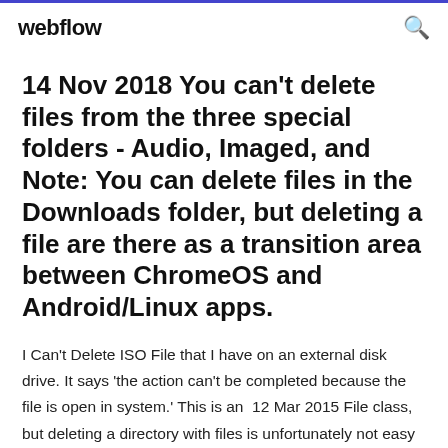webflow
14 Nov 2018 You can't delete files from the three special folders - Audio, Imaged, and Note: You can delete files in the Downloads folder, but deleting a file are there as a transition area between ChromeOS and Android/Linux apps.
I Can't Delete ISO File that I have on an external disk drive. It says 'the action can't be completed because the file is open in system.' This is an  12 Mar 2015 File class, but deleting a directory with files is unfortunately not easy